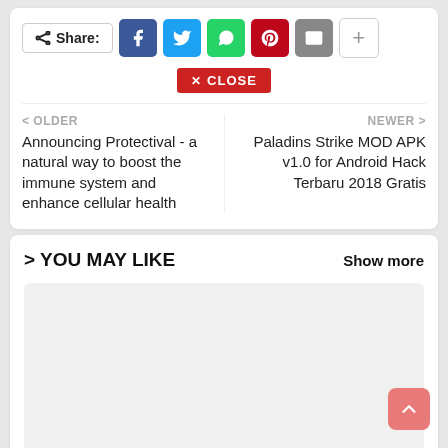Share: [Facebook] [Twitter] [WhatsApp] [Pinterest] [Email] [+]
✕ CLOSE
< OLDER
Announcing Protectival - a natural way to boost the immune system and enhance cellular health
NEWER >
Paladins Strike MOD APK v1.0 for Android Hack Terbaru 2018 Gratis
> YOU MAY LIKE
Show more
[Figure (other): Gray placeholder content box]